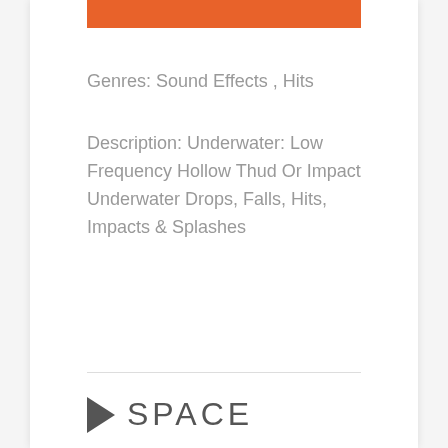[Figure (other): Orange decorative bar at top of content card]
Genres: Sound Effects , Hits
Description: Underwater: Low Frequency Hollow Thud Or Impact Underwater Drops, Falls, Hits, Impacts & Splashes
Add to Favorites
[Figure (logo): Space logo with right-pointing triangle and the word SPACE]